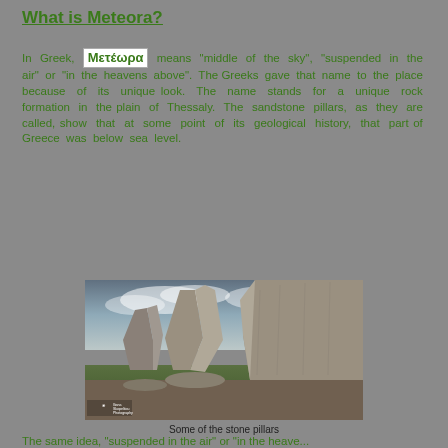What is Meteora?
In Greek, Μετέωρα means "middle of the sky", "suspended in the air" or "in the heavens above". The Greeks gave that name to the place because of its unique look. The name stands for a unique rock formation in the plain of Thessaly. The sandstone pillars, as they are called, show that at some point of its geological history, that part of Greece was below sea level.
[Figure (photo): Photograph of the tall sandstone rock pillars of Meteora with dramatic cloudy sky and green forest below, taken from a low angle looking up. Watermark reads 'Iliana Skopelitou Photography'.]
Some of the stone pillars
The same idea, "suspended in the air" or "in the heavens